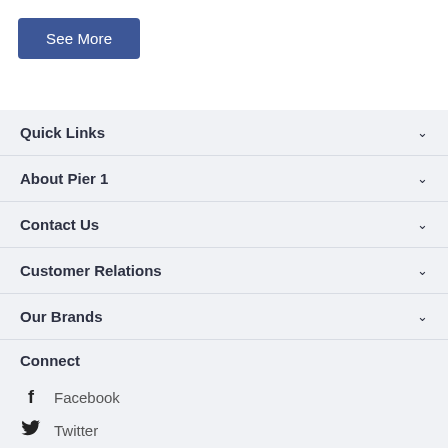See More
Quick Links
About Pier 1
Contact Us
Customer Relations
Our Brands
Connect
Facebook
Twitter